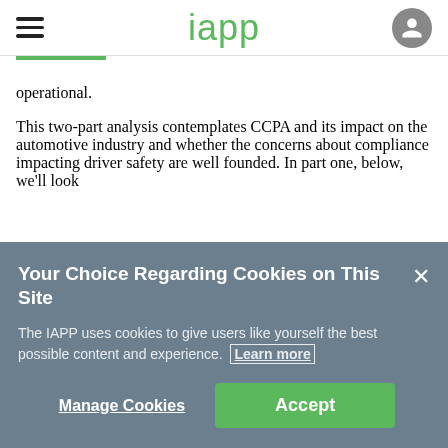iapp
operational.
This two-part analysis contemplates CCPA and its impact on the automotive industry and whether the concerns about compliance impacting driver safety are well founded. In part one, below, we'll look
Your Choice Regarding Cookies on This Site
The IAPP uses cookies to give users like yourself the best possible content and experience. Learn more
Manage Cookies
Accept